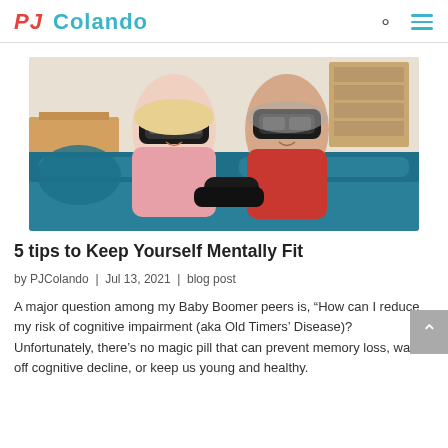PJ Colando
[Figure (photo): Two elderly people (a woman and a man) sitting on a teal/blue sofa, both wearing VR headsets and holding game controllers, laughing and enjoying themselves. Indoor setting with furniture in background.]
5 tips to Keep Yourself Mentally Fit
by PJColando  |  Jul 13, 2021  |  blog post
A major question among my Baby Boomer peers is, “How can I reduce my risk of cognitive impairment (aka Old Timers’ Disease)? Unfortunately, there’s no magic pill that can prevent memory loss, ward off cognitive decline, or keep us young and healthy.